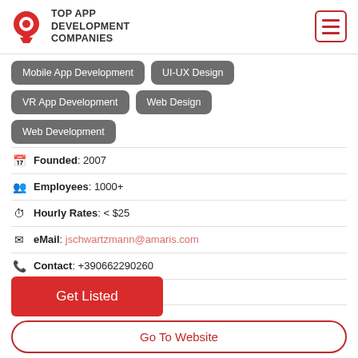TOP APP DEVELOPMENT COMPANIES
Mobile App Development
UI-UX Design
VR App Development
Web Design
Web Development
Founded: 2007
Employees: 1000+
Hourly Rates: < $25
eMail: jschwartzmann@amaris.com
Contact: +390662290260
Clutch Ratings: 4.8/5
Get Listed
Go To Website